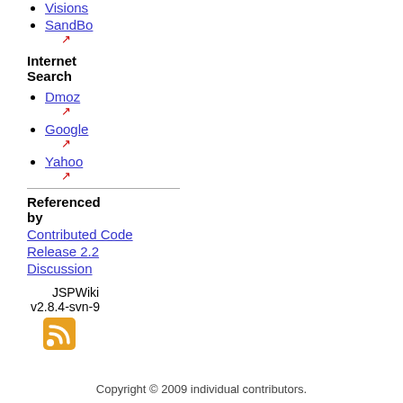Visions
SandBo
Internet Search
Dmoz
Google
Yahoo
Referenced by
Contributed Code
Release 2.2
Discussion
JSPWiki
v2.8.4-svn-9
[Figure (other): RSS feed icon - orange square with white RSS symbol]
Copyright © 2009 individual contributors.